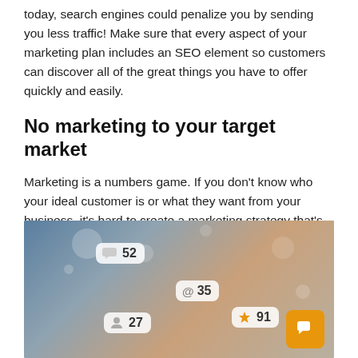today, search engines could penalize you by sending you less traffic! Make sure that every aspect of your marketing plan includes an SEO element so customers can discover all of the great things you have to offer quickly and easily.
No marketing to your target market
Marketing is a numbers game. If you don't know who your ideal customer is or what they want from your business, it's hard to create a marketing strategy that's right for them. So make sure that every step of this process includes input from people in the industry and people inside your target market so you can focus on reaching the people most likely to buy from you instead of wasting money targeting everyone!
[Figure (photo): Photo of hands holding a smartphone with social media notification overlays showing numbers: comment bubble with 52, @ mention with 35, person/follow icon with 27, star with 91. Orange chat button in bottom right corner.]